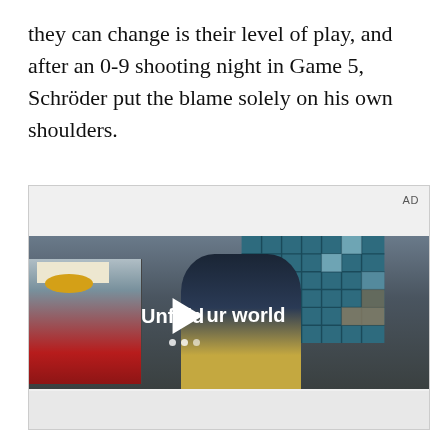they can change is their level of play, and after an 0-9 shooting night in Game 5, Schröder put the blame solely on his own shoulders.
[Figure (screenshot): Video advertisement embedded in article. Shows a teenager in a denim jacket walking through a cafeteria-style setting with a large teal/blue grid window wall behind him. A play button (triangle) is overlaid in the center with the text 'Unfold your world'. 'AD' label in upper right corner.]